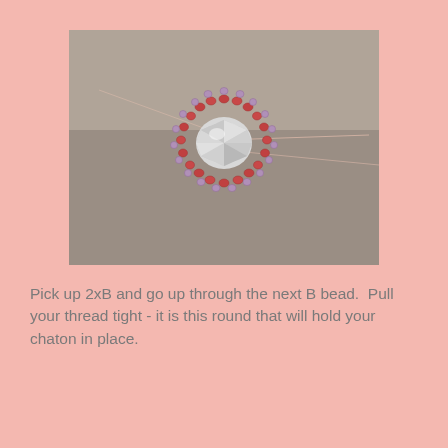[Figure (photo): Close-up photo of a beaded ring or chaton setting on a gray background. Red/pink seed beads form a circular bezel around a central crystal chaton, with purple accent beads visible around the outer edge. A thread is visible extending from the beadwork.]
Pick up 2xB and go up through the next B bead.  Pull your thread tight - it is this round that will hold your chaton in place.